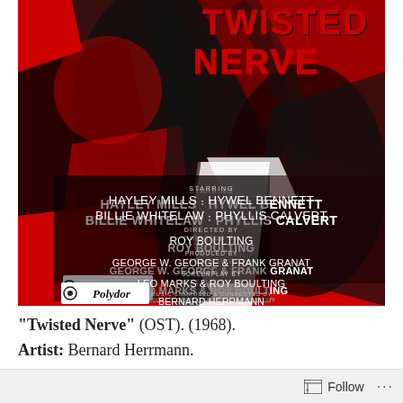[Figure (illustration): Movie soundtrack album cover for 'Twisted Nerve' (1968). Bold red, black and white graphic design showing dramatic figures. Title 'TWISTED NERVE' in large red letters at top right. Credits on lower left: Starring HAYLEY MILLS · HYWEL BENNETT, BILLIE WHITELAW · PHYLLIS CALVERT, Directed by ROY BOULTING, Produced by GEORGE W. GEORGE & FRANK GRANAT, Screenplay by LEO MARKS & ROY BOULTING, Music Composed & Conducted by BERNARD HERRMANN. Polydor label logo at bottom left.]
"Twisted Nerve" (OST). (1968).
Artist: Bernard Herrmann.